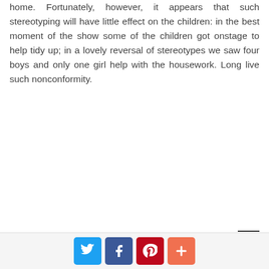home. Fortunately, however, it appears that such stereotyping will have little effect on the children: in the best moment of the show some of the children got onstage to help tidy up; in a lovely reversal of stereotypes we saw four boys and only one girl help with the housework. Long live such nonconformity.
[Social share buttons: Twitter, Facebook, Pinterest, More]